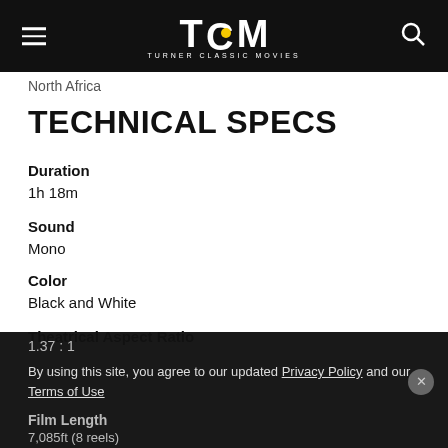TCM TURNER CLASSIC MOVIES
North Africa
TECHNICAL SPECS
Duration
1h 18m
Sound
Mono
Color
Black and White
Theatrical Aspect Ratio
1.37 : 1
By using this site, you agree to our updated Privacy Policy and our Terms of Use
Film Length
7,085ft (8 reels)